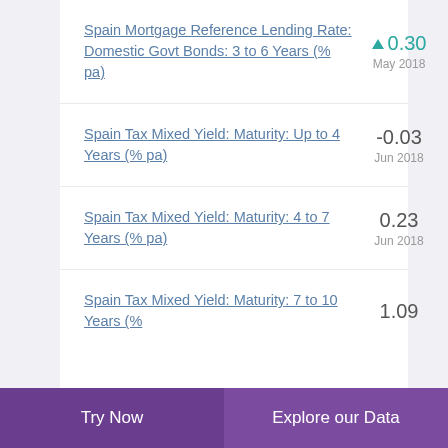Spain Mortgage Reference Lending Rate: Domestic Govt Bonds: 3 to 6 Years (% pa)
Spain Tax Mixed Yield: Maturity: Up to 4 Years (% pa)
Spain Tax Mixed Yield: Maturity: 4 to 7 Years (% pa)
Spain Tax Mixed Yield: Maturity: 7 to 10 Years (%
Try Now  |  Explore our Data